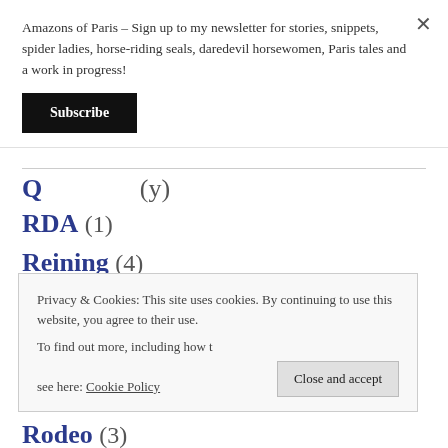Amazons of Paris – Sign up to my newsletter for stories, snippets, spider ladies, horse-riding seals, daredevil horsewomen, Paris tales and a work in progress!
Subscribe
RDA (1)
Reining (4)
Rhode Island (1)
Privacy & Cookies: This site uses cookies. By continuing to use this website, you agree to their use.
To find out more, including how to control cookies, see here: Cookie Policy
Close and accept
Rodeo (3)